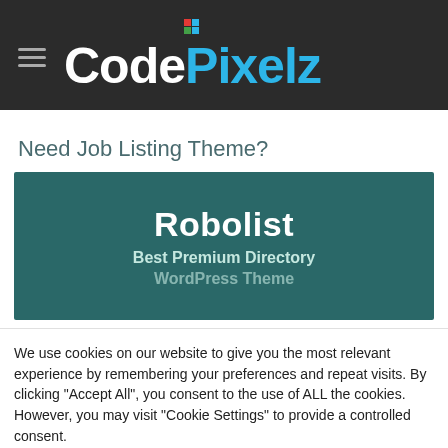CodePixelz
Need Job Listing Theme?
[Figure (illustration): Banner for 'Robolist – Best Premium Directory WordPress Theme' on a dark teal background]
We use cookies on our website to give you the most relevant experience by remembering your preferences and repeat visits. By clicking "Accept All", you consent to the use of ALL the cookies. However, you may visit "Cookie Settings" to provide a controlled consent.
Cookie Settings | Accept All